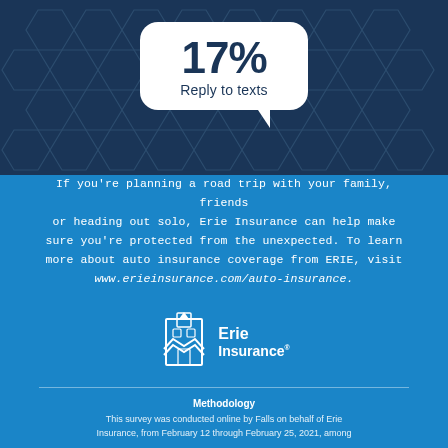[Figure (infographic): Speech bubble graphic on dark navy hexagon-patterned background showing '17% Reply to texts' statistic]
If you're planning a road trip with your family, friends or heading out solo, Erie Insurance can help make sure you're protected from the unexpected. To learn more about auto insurance coverage from ERIE, visit www.erieinsurance.com/auto-insurance.
[Figure (logo): Erie Insurance logo - white building/church icon with 'Erie Insurance' text]
Methodology
This survey was conducted online by Falls on behalf of Erie Insurance, from February 12 through February 25, 2021, among